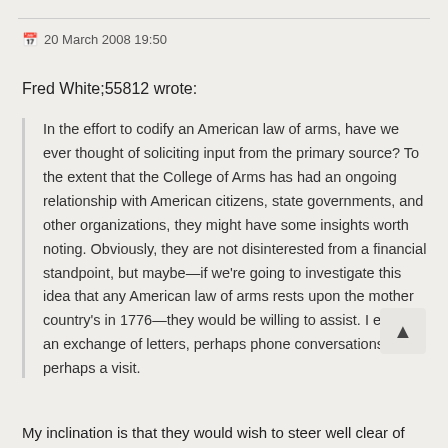20 March 2008 19:50
Fred White;55812 wrote:
In the effort to codify an American law of arms, have we ever thought of soliciting input from the primary source? To the extent that the College of Arms has had an ongoing relationship with American citizens, state governments, and other organizations, they might have some insights worth noting. Obviously, they are not disinterested from a financial standpoint, but maybe—if we're going to investigate this idea that any American law of arms rests upon the mother country's in 1776—they would be willing to assist. I envision an exchange of letters, perhaps phone conversations, perhaps a visit.
My inclination is that they would wish to steer well clear of